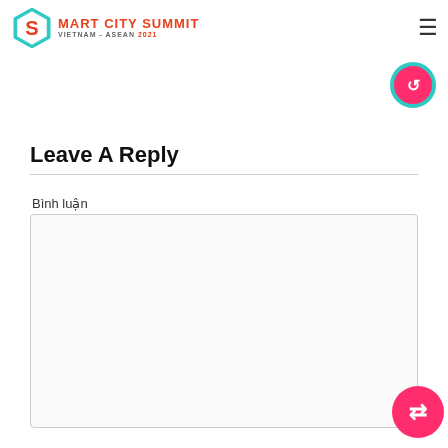[Figure (logo): Smart City Summit Vietnam - ASEAN 2021 logo with hexagon shape and hamburger menu icon]
Leave A Reply
Bình luận
[Figure (screenshot): Empty comment text area input box]